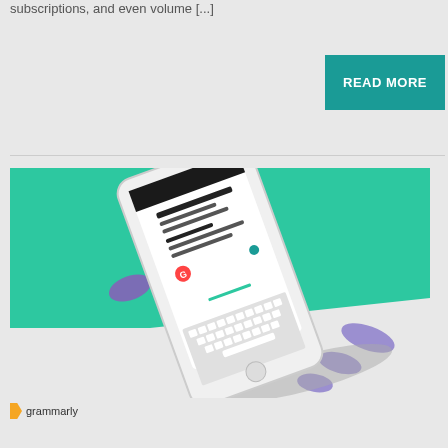subscriptions, and even volume [...]
[Figure (other): READ MORE button — teal/dark cyan rectangle with white bold text]
[Figure (illustration): Grammarly promotional illustration: a stylized smartphone shown at an angle on a teal/green background with purple decorative blobs/shapes around it. The phone screen shows a text editor with Grammarly suggestions. The Grammarly logo and wordmark appear at the bottom left of the image.]
grammarly